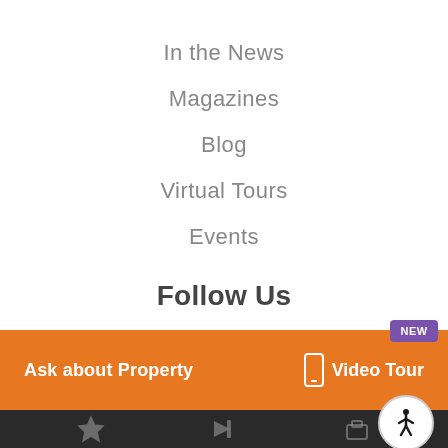In the News
Magazines
Blog
Virtual Tours
Events
Follow Us
Ask about Property
Video Tour
NEW